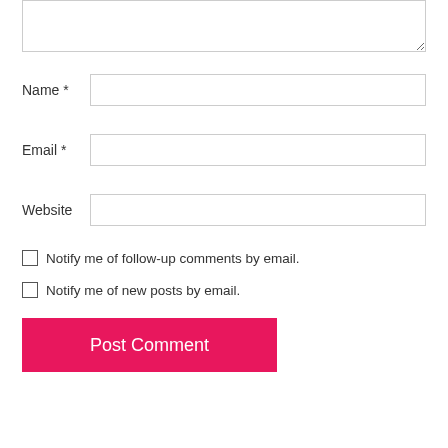[Figure (screenshot): Textarea input box (comment area), partially visible at top of page]
Name *
Email *
Website
Notify me of follow-up comments by email.
Notify me of new posts by email.
Post Comment